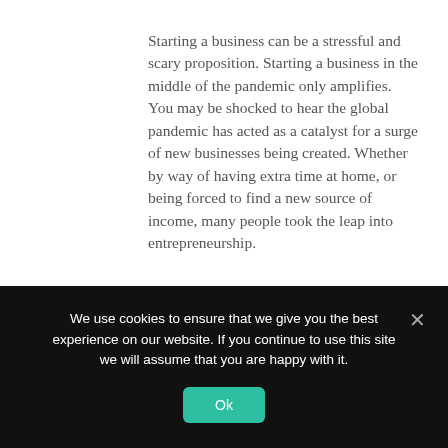Starting a business can be a stressful and scary proposition. Starting a business in the middle of the pandemic only amplifies. You may be shocked to hear the global pandemic has acted as a catalyst for a surge of new businesses being created. Whether by way of having extra time at home, or being forced to find a new source of income, many people took the leap into entrepreneurship.
According to the U.S Census, more than
We use cookies to ensure that we give you the best experience on our website. If you continue to use this site we will assume that you are happy with it.